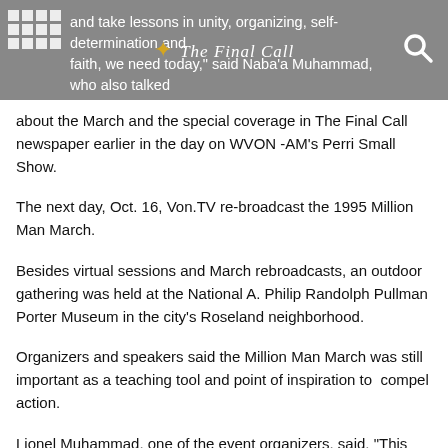and take lessons in unity, organizing, self-determination and faith, we need today,” said Naba’a Muhammad, who also talked
about the March and the special coverage in The Final Call newspaper earlier in the day on WVON -AM’s Perri Small Show.
The next day, Oct. 16, Von.TV re-broadcast the 1995 Million Man March.
Besides virtual sessions and March rebroadcasts, an outdoor gathering was held at the National A. Philip Randolph Pullman Porter Museum in the city’s Roseland neighborhood.
Organizers and speakers said the Million Man March was still important as a teaching tool and point of inspiration to  compel action.
Lionel Muhammad, one of the event organizers, said, “This Holy Day of Atonement means reconciliation and responsibility. Those pledges that we took in 1995, we want to enforce that pledge and make a